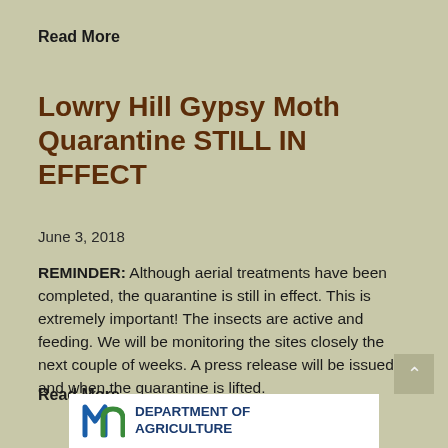Read More
Lowry Hill Gypsy Moth Quarantine STILL IN EFFECT
June 3, 2018
REMINDER: Although aerial treatments have been completed, the quarantine is still in effect. This is extremely important!  The insects are active and feeding. We will be monitoring the sites closely the next couple of weeks.  A press release will be issued if and when the quarantine is lifted.
Read More
[Figure (logo): Minnesota Department of Agriculture logo with stylized 'mn' letters in blue/green and text 'DEPARTMENT OF AGRICULTURE' in navy blue]